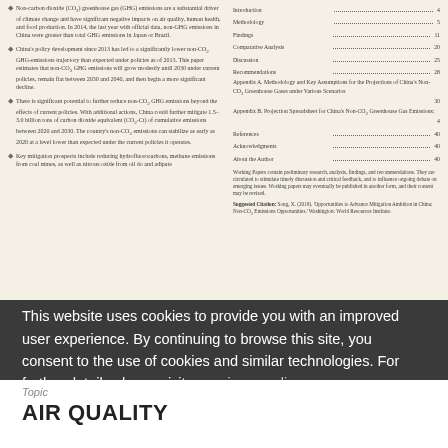Non-carbon dioxide (CO2) greenhouse gas (GHG) emissions are a substantial driver of climate change and have significant negative impacts on air quality, human health, and food production. In 2014, the last year with official data, non-GHG emissions in China were greater than total GHG emissions in Japan or Brazil.
China's policy development since 2013 has led to a significantly lower non-CO2 GHG-emissions trajectory than expected under policies as of 2013. This paper estimates that non-CO2 GHG emissions will grow modestly until 2030 under current policies, remain flat between 2030 and 2040, and then begin a more significant decline.
There is significant potential to further reduce non-CO2 GHG emissions beyond the effects of current policies. With additional actions, China could further mitigate 1.5–3.0 billion tons of carbon dioxide equivalent (CO2-Ct) of cumulative emissions between 2020 and 2030. The country's non-CO2 emissions can stabilize as early as 2020 at a level lower than expected under the current policies it operates.
Key mitigation prospects include reducing hydrofluorocarbons, methane emissions from coal mines, as well as nitrous oxide from oil and adipate…
Introduction....4
Methodology....5
Findings....11
Comparative Analysis....20
Discussion....25
Recommendations....28
Appendix A. Methodology and Key Assumptions for the Projections of China's Non-CO2 Greenhouse Gases under Various Scenarios....30
Appendix B. Projection Spreadsheet for China's Non-CO2 Greenhouse Gas Emissions....4
References....40
Acknowledgments....40
About the Author....40
Working Papers contain preliminary research, analysis, findings, and recommendations. They are circulated to stimulate timely discussion and critical feedback, and to influence ongoing debate on emerging issues. Working papers may eventually be published in another form, and their content may be revised.
Suggested Citation: Song, X. (2019). 'Opportunities to Advance Mitigation Ambition in China: Non-CO2 Emissions Opportunities.' Washington: World Resources Institute.
This website uses cookies to provide you with an improved user experience. By continuing to browse this site, you consent to the use of cookies and similar technologies. For further details please visit our privacy policy
Okay
Topic
AIR QUALITY